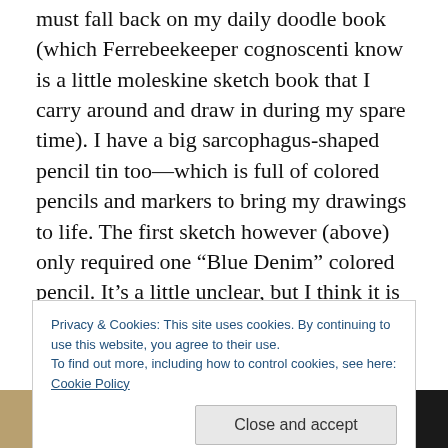must fall back on my daily doodle book (which Ferrebeekeeper cognoscenti know is a little moleskine sketch book that I carry around and draw in during my spare time).  I have a big sarcophagus-shaped pencil tin too—which is full of colored pencils and markers to bring my drawings to life.  The first sketch however (above) only required one “Blue Denim” colored pencil.  It’s a little unclear, but I think it is a picture of the future oceans filled with bathyspheres, synthetic ocean life (to replace the fish we are recklessly killing off), and ships driven by fanciful propulsion.  Synthetic beings and post-humans fly through
Privacy & Cookies: This site uses cookies. By continuing to use this website, you agree to their use.
To find out more, including how to control cookies, see here: Cookie Policy
[Figure (photo): Bottom strip showing partial image of what appears to be an ancient or decorative artifact, dark background on right.]